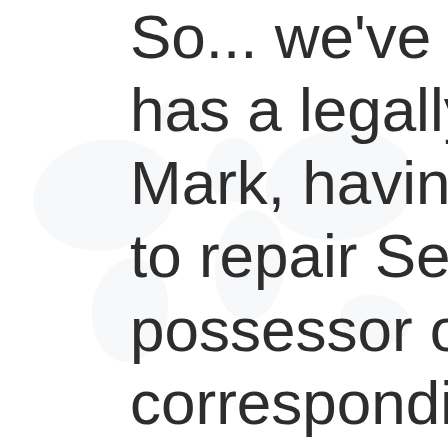So... we've seen money has a legally binding de Mark, having provided t to repair Sean's roof, qu possessor of (he is the t corresponding number o can now spend that mo likes. Or, alternatively, h